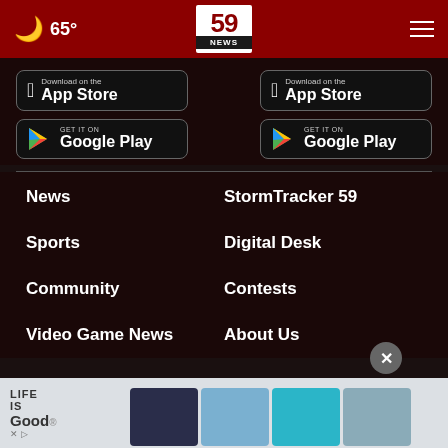65° | 59 NEWS
[Figure (logo): 59 NEWS logo in white/red on red header bar]
[Figure (screenshot): Download on the App Store button (left)]
[Figure (screenshot): GET IT ON Google Play button (left)]
[Figure (screenshot): Download on the App Store button (right)]
[Figure (screenshot): GET IT ON Google Play button (right)]
News
StormTracker 59
Sports
Digital Desk
Community
Contests
Video Game News
About Us
[Figure (photo): Life is Good advertisement banner with t-shirts]